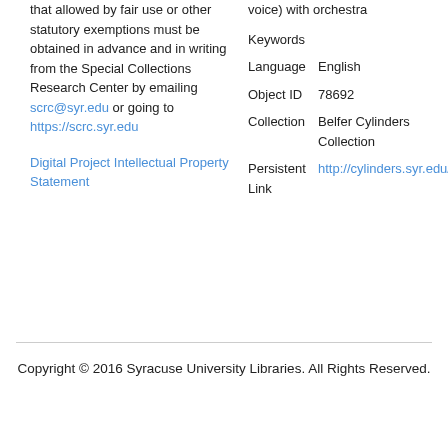that allowed by fair use or other statutory exemptions must be obtained in advance and in writing from the Special Collections Research Center by emailing scrc@syr.edu or going to https://scrc.syr.edu
Digital Project Intellectual Property Statement
voice) with orchestra
Keywords
Language English
Object ID 78692
Collection Belfer Cylinders Collection
Persistent Link http://cylinders.syr.edu/p/belfer/belfer_cylinders.78692
Copyright © 2016 Syracuse University Libraries. All Rights Reserved.